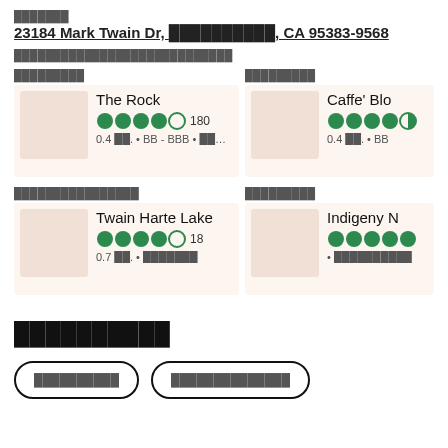███████
23184 Mark Twain Dr, ██████████, CA 95383-9568
████████████████████████████
█████████
The Rock
4.0 stars 180
0.4 ██. • ΒΒ - ΒΒΒ • ███████...
█████████
Caffe' Blo...
4.5 stars
0.4 ██. • ΒΒ
████████████████
Twain Harte Lake
4.0 stars 18
0.7 ██. • ███████
█████████
Indigeny N...
5 stars
• ██████████
██████████
██████████
██████████████